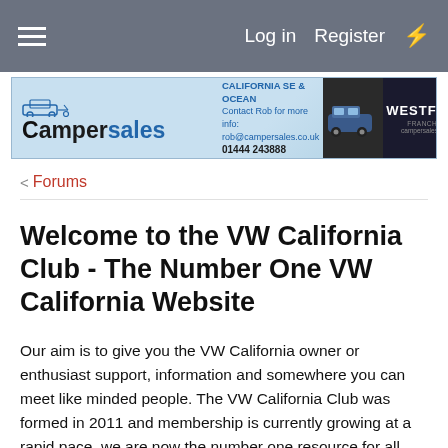Log in   Register
[Figure (photo): Campersales banner advertisement showing California SE & Ocean and Westfalia models, with contact info rob@campersales.co.uk and phone 01444 243888]
< Forums
Welcome to the VW California Club - The Number One VW California Website
Our aim is to give you the VW California owner or enthusiast support, information and somewhere you can meet like minded people. The VW California Club was formed in 2011 and membership is currently growing at a rapid pace, we are now the number one resource for all VW California related information worldwide. You too can join our very friendly group of VW T4, T5, T6, T6.1 and Beach California owners and enthusiasts for free or why not choose our VIP